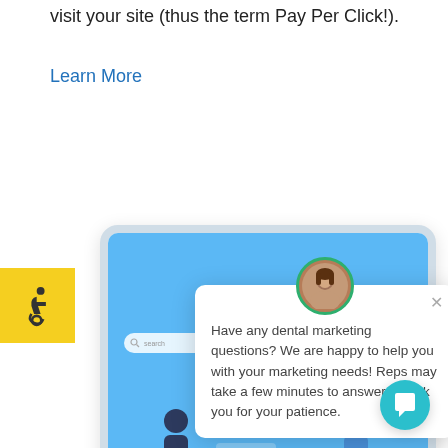visit your site (thus the term Pay Per Click!).
Learn More
[Figure (screenshot): Screenshot of a dental marketing website displayed on a tablet, showing illustrated people figures, a search bar, and a chat bot popup overlay with a woman's avatar asking 'Have any dental marketing questions? We are happy to help you with your marketing needs! Reps may take a few minutes to answer. Thank you for your patience.' There is also an accessibility badge (wheelchair icon on yellow background) and a teal chat button in the bottom right.]